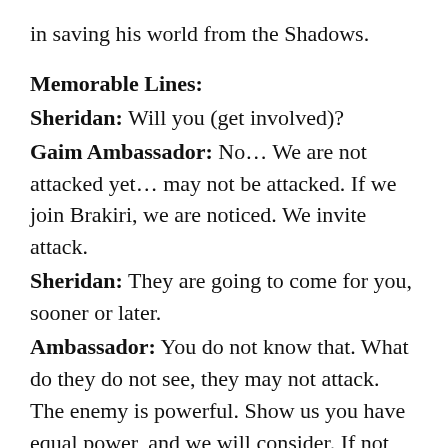in saving his world from the Shadows.
Memorable Lines:
Sheridan: Will you (get involved)?
Gaim Ambassador: No… We are not attacked yet… may not be attacked. If we join Brakiri, we are noticed. We invite attack.
Sheridan: They are going to come for you, sooner or later.
Ambassador: You do not know that. What do they do not see, they may not attack. The enemy is powerful. Show us you have equal power, and we will consider. If not, then we will stay quiet. Do you have equal power?
Morden: I thought we had a deal… we carved up the galaxy you and I.
Londo: Yes, we did. And what you do in your half is